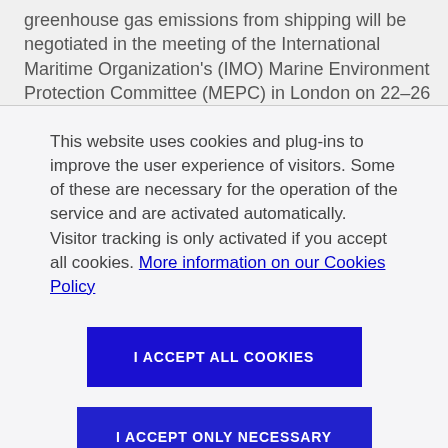greenhouse gas emissions from shipping will be negotiated in the meeting of the International Maritime Organization's (IMO) Marine Environment Protection Committee (MEPC) in London on 22–26 October 2018.
This website uses cookies and plug-ins to improve the user experience of visitors. Some of these are necessary for the operation of the service and are activated automatically. Visitor tracking is only activated if you accept all cookies. More information on our Cookies Policy
I ACCEPT ALL COOKIES
I ACCEPT ONLY NECESSARY COOKIES